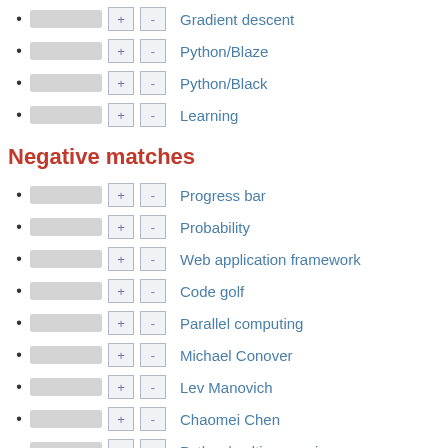Gradient descent
Python/Blaze
Python/Black
Learning
Negative matches
Progress bar
Probability
Web application framework
Code golf
Parallel computing
Michael Conover
Lev Manovich
Chaomei Chen
Python/multiprocessing
Vadim Ogievetsky
Dashboard